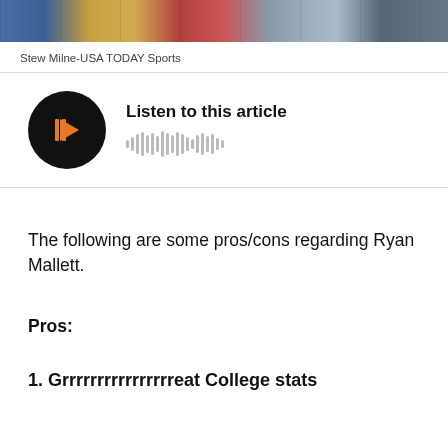[Figure (photo): Cropped sports photograph showing football players in uniforms, partially visible at top of page]
Stew Milne-USA TODAY Sports
[Figure (other): Audio player widget with play button and waveform — Listen to this article]
The following are some pros/cons regarding Ryan Mallett.
Pros:
1. Grrrrrrrrrrrrrrrreat College stats